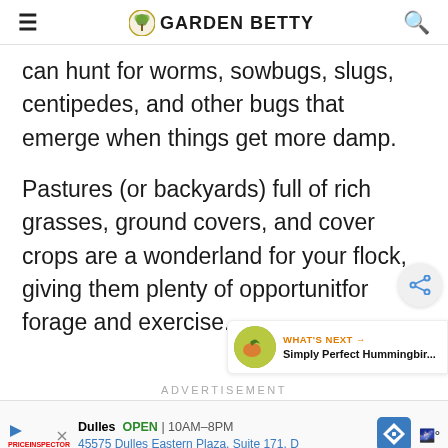≡  🌳 GARDEN BETTY  🔍
can hunt for worms, sowbugs, slugs, centipedes, and other bugs that emerge when things get more damp.
Pastures (or backyards) full of rich grasses, ground covers, and cover crops are a wonderland for your flock, giving them plenty of opportunit- for forage and exercise.
ADVERTISEMENT
[Figure (other): Ad banner for Dulles store: OPEN 10AM–8PM, 45575 Dulles Eastern Plaza, Suite 171, D]